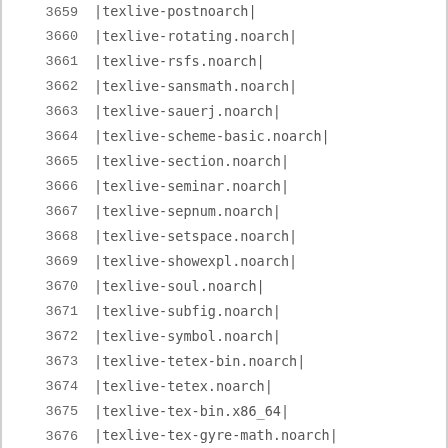| number | package |
| --- | --- |
| 3659 | |texlive-postnoarch| |
| 3660 | |texlive-rotating.noarch| |
| 3661 | |texlive-rsfs.noarch| |
| 3662 | |texlive-sansmath.noarch| |
| 3663 | |texlive-sauerj.noarch| |
| 3664 | |texlive-scheme-basic.noarch| |
| 3665 | |texlive-section.noarch| |
| 3666 | |texlive-seminar.noarch| |
| 3667 | |texlive-sepnum.noarch| |
| 3668 | |texlive-setspace.noarch| |
| 3669 | |texlive-showexpl.noarch| |
| 3670 | |texlive-soul.noarch| |
| 3671 | |texlive-subfig.noarch| |
| 3672 | |texlive-symbol.noarch| |
| 3673 | |texlive-tetex-bin.noarch| |
| 3674 | |texlive-tetex.noarch| |
| 3675 | |texlive-tex-bin.x86_64| |
| 3676 | |texlive-tex-gyre-math.noarch| |
| 3677 | |texlive-tex-gyre.noarch| |
| 3678 | |texlive-tex.noarch| |
| 3679 | |texlive-tex4ht-bin.x86_64| |
| 3680 | |texlive-tex4ht.noarch| |
| 3681 | |texlive-texconfig-bin.noarch| |
| 3682 | |texlive-texconfig.noarch| |
| 3683 | |texlive-texlive.infra-bin.x86_64| |